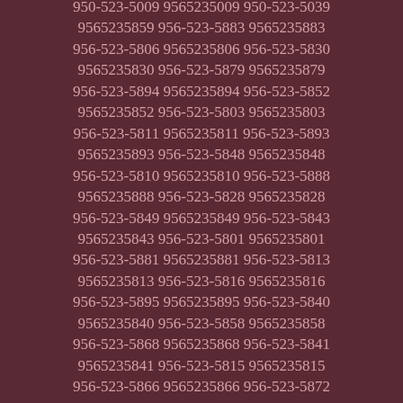950-523-5009 9565235009 950-523-5039 9565235859 956-523-5883 9565235883 956-523-5806 9565235806 956-523-5830 9565235830 956-523-5879 9565235879 956-523-5894 9565235894 956-523-5852 9565235852 956-523-5803 9565235803 956-523-5811 9565235811 956-523-5893 9565235893 956-523-5848 9565235848 956-523-5810 9565235810 956-523-5888 9565235888 956-523-5828 9565235828 956-523-5849 9565235849 956-523-5843 9565235843 956-523-5801 9565235801 956-523-5881 9565235881 956-523-5813 9565235813 956-523-5816 9565235816 956-523-5895 9565235895 956-523-5840 9565235840 956-523-5858 9565235858 956-523-5868 9565235868 956-523-5841 9565235841 956-523-5815 9565235815 956-523-5866 9565235866 956-523-5872 9565235872 956-523-5863 9565235863 956-523-5871 9565235871 956-523-5850 9565235850 956-523-5834 9565235834 956-523-5884 9565235884 956-523-5896 9565235896 956-523-5846 9565235846 956-523-5885 9565235885 956-523-5845 9565235845 956-523-5882 9565235882